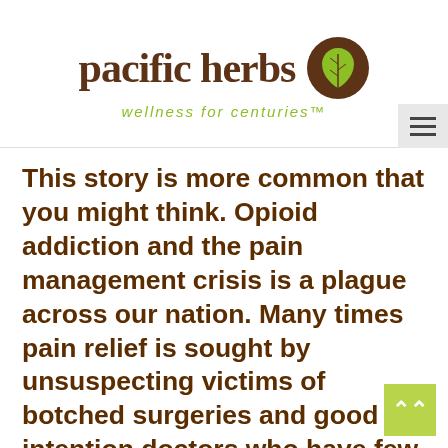[Figure (logo): Pacific Herbs logo with brown leaf icon in circle, company name in brown serif font, tagline 'wellness for centuries' in green]
This story is more common that you might think. Opioid addiction and the pain management crisis is a plague across our nation. Many times pain relief is sought by unsuspecting victims of botched surgeries and good intention doctors who have few natural alternatives for pain.  The reasons someone gets hooked on opioid pain drugs are as diverse as the people it effects; young, old, and